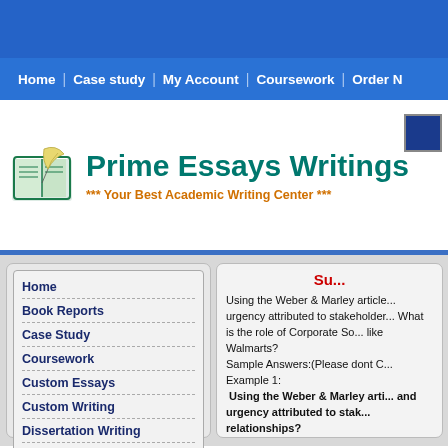Prime Essays Writings — Your Best Academic Writing Center
[Figure (screenshot): Navigation bar with links: Home, Case study, My Account, Coursework, Order N...]
Prime Essays Writings
*** Your Best Academic Writing Center ***
Home
Book Reports
Case Study
Coursework
Custom Essays
Custom Writing
Dissertation Writing
FAQ
Su...
Using the Weber & Marley article... urgency attributed to stakeholder... What is the role of Corporate So... like Walmarts? Sample Answers:(Please dont C... Example 1: Using the Weber & Marley arti... and urgency attributed to stak... relationships? Power, legitimacy, and ur... Mitchell Stakeholder model. Eac... considering them in the context ...